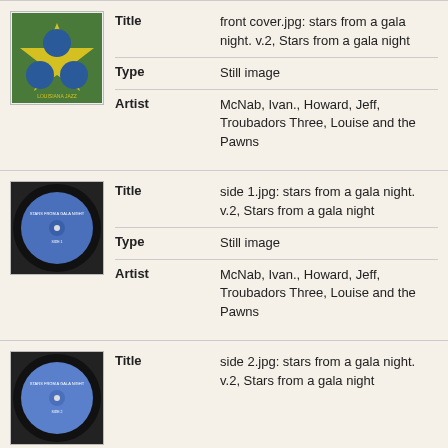[Figure (photo): Album front cover thumbnail - yellow/green with blue stars design]
| Title | front cover.jpg: stars from a gala night. v.2, Stars from a gala night |
| Type | Still image |
| Artist | McNab, Ivan., Howard, Jeff, Troubadors Three, Louise and the Pawns |
[Figure (photo): Vinyl record label thumbnail - blue circular label, side 1]
| Title | side 1.jpg: stars from a gala night. v.2, Stars from a gala night |
| Type | Still image |
| Artist | McNab, Ivan., Howard, Jeff, Troubadors Three, Louise and the Pawns |
[Figure (photo): Vinyl record label thumbnail - blue circular label, side 2]
| Title | side 2.jpg: stars from a gala night. v.2, Stars from a gala night |